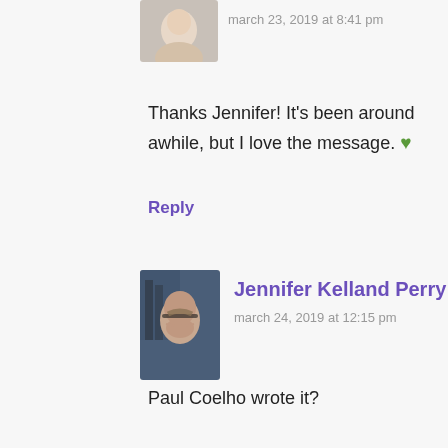[Figure (photo): Partial avatar photo of a person, cropped at top]
march 23, 2019 at 8:41 pm
Thanks Jennifer! It's been around awhile, but I love the message. 💚
Reply
[Figure (photo): Avatar photo of Jennifer Kelland Perry, woman with curly hair and glasses, bookshelf behind her]
Jennifer Kelland Perry
march 24, 2019 at 12:15 pm
Paul Coelho wrote it?
Reply
[Figure (photo): Partial avatar photo of Karen Lang at the bottom]
Karen Lang